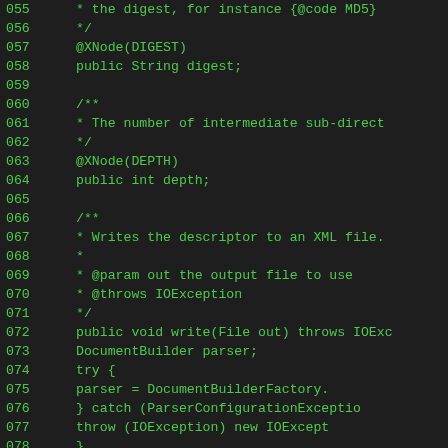[Figure (screenshot): Source code listing in dark IDE theme showing Java code with line numbers 055-083 in green monospace font on dark background]